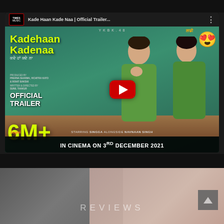[Figure (screenshot): YouTube video thumbnail for 'Kade Haan Kade Naa | Official Trailer' by Times Music. Shows two actors sitting at a desk, green background, yellow title text 'Kade haan Kade naa', '6M+' views, 'OFFICIAL TRAILER' text, red YouTube play button, emoji, and bottom banner 'IN CINEMA ON 3RD DECEMBER 2021'. Views: 6M+.]
[Figure (photo): Dark lower section showing a person's hands on a laptop keyboard and flowers, with the word 'REVIEWS' overlaid in spaced light letters, and a scroll-to-top arrow button in the lower right.]